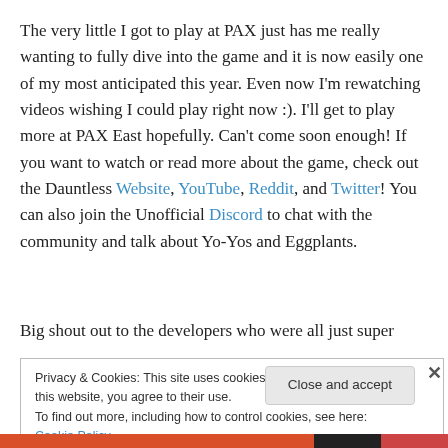The very little I got to play at PAX just has me really wanting to fully dive into the game and it is now easily one of my most anticipated this year. Even now I'm rewatching videos wishing I could play right now :). I'll get to play more at PAX East hopefully. Can't come soon enough! If you want to watch or read more about the game, check out the Dauntless Website, YouTube, Reddit, and Twitter! You can also join the Unofficial Discord to chat with the community and talk about Yo-Yos and Eggplants.
Big shout out to the developers who were all just super
Privacy & Cookies: This site uses cookies. By continuing to use this website, you agree to their use.
To find out more, including how to control cookies, see here: Cookie Policy
Close and accept